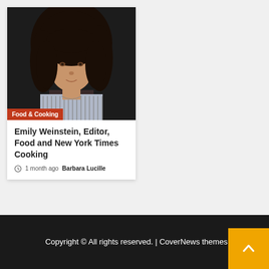[Figure (photo): Headshot of a woman with curly dark hair against a dark background, wearing a striped shirt. Category badge reading 'Food & Cooking' overlaid at bottom left.]
Emily Weinstein, Editor, Food and New York Times Cooking
1 month ago   Barbara Lucille
Copyright © All rights reserved. | CoverNews themes.